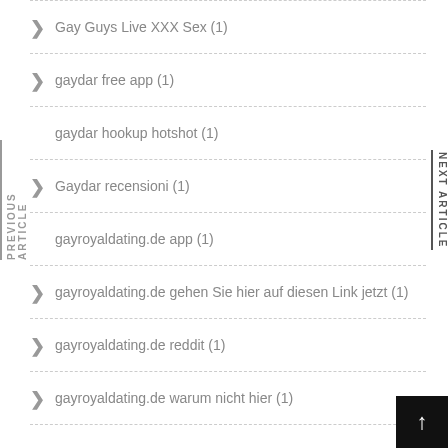Gay Guys Live XXX Sex (1)
gaydar free app (1)
gaydar hookup hotshot (1)
Gaydar recensioni (1)
gayroyaldating.de app (1)
gayroyaldating.de gehen Sie hier auf diesen Link jetzt (1)
gayroyaldating.de reddit (1)
gayroyaldating.de warum nicht hier (1)